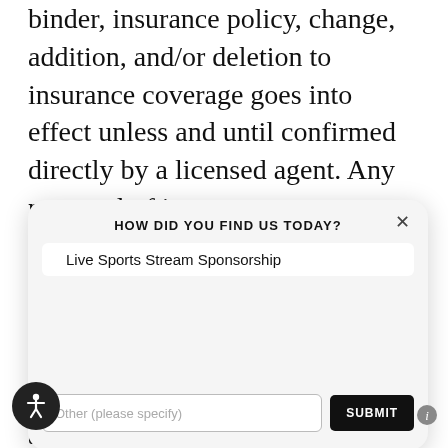binder, insurance policy, change, addition, and/or deletion to insurance coverage goes into effect unless and until confirmed directly by a licensed agent. Any proposal of insurance we may present to you will be based upon the information you provide to us via this online form/application and/or in other communications with us. Please contact our office at 715.387.4443 to discuss sp
HOW DID YOU FIND US TODAY?
Live Sports Stream Sponsorship
Other (please specify)
SUBMIT